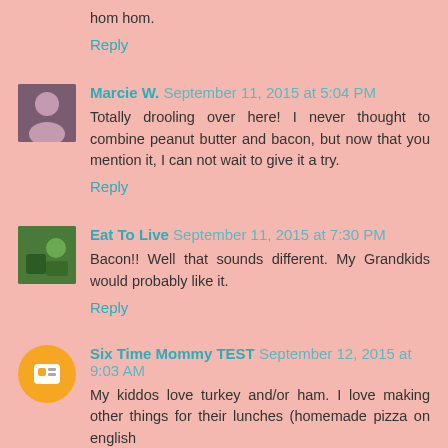hom hom.
Reply
Marcie W. September 11, 2015 at 5:04 PM
Totally drooling over here! I never thought to combine peanut butter and bacon, but now that you mention it, I can not wait to give it a try.
Reply
Eat To Live September 11, 2015 at 7:30 PM
Bacon!! Well that sounds different. My Grandkids would probably like it.
Reply
Six Time Mommy TEST September 12, 2015 at 9:03 AM
My kiddos love turkey and/or ham. I love making other things for their lunches (homemade pizza on english